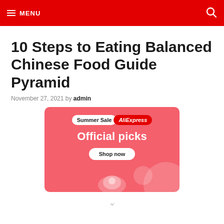≡ MENU
10 Steps to Eating Balanced Chinese Food Guide Pyramid
November 27, 2021 by admin
[Figure (infographic): AliExpress Summer Sale advertisement banner with pink background, showing 'Summer Sale AliExpress Official picks Shop now' text with decorative circles and a product image.]